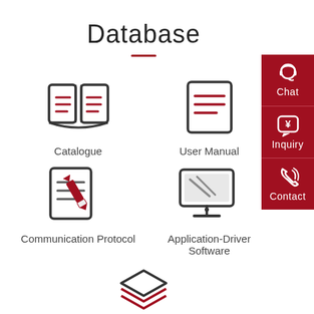Database
[Figure (infographic): Six icons arranged in a 2x2 grid plus one centered below: Catalogue (open book icon), User Manual (document icon), Communication Protocol (document with pen icon), Application-Driver Software (monitor/screen icon), Application (stacked layers icon). Side panel shows Chat, Inquiry, Contact buttons in dark red.]
Catalogue
User Manual
Communication Protocol
Application-Driver Software
Application